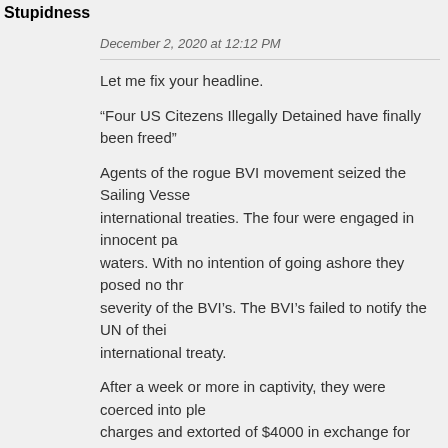Stupidness
December 2, 2020 at 12:12 PM
Let me fix your headline.
“Four US Citezens Illegally Detained have finally been freed”
Agents of the rogue BVI movement seized the Sailing Vesse international treaties. The four were engaged in innocent pa waters. With no intention of going ashore they posed no thr severity of the BVI’s. The BVI’s failed to notify the UN of thei international treaty.
After a week or more in captivity, they were coerced into ple charges and extorted of $4000 in exchange for their freedor
Originally the government was demanding $20000 for their f stories and occasionally someone with common sense getti But not before doing massive damage to the reputation of t product.
Thi